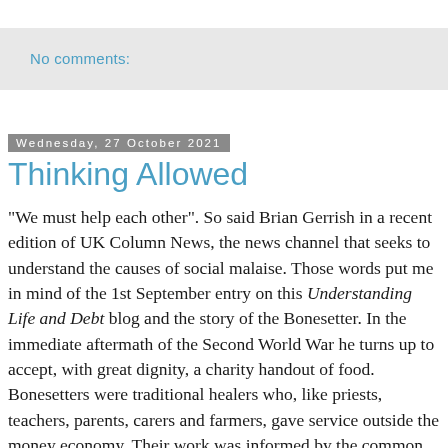No comments:
Wednesday, 27 October 2021
Thinking Allowed
"We must help each other". So said Brian Gerrish in a recent edition of UK Column News, the news channel that seeks to understand the causes of social malaise. Those words put me in mind of the 1st September entry on this Understanding Life and Debt blog and the story of the Bonesetter. In the immediate aftermath of the Second World War he turns up to accept, with great dignity, a charity handout of food. Bonesetters were traditional healers who, like priests, teachers, parents, carers and farmers, gave service outside the money economy. Their work was informed by the common cultural heritage of traditional learning and skills, built up over untold generations. They supported, and were supported by, the community as a whole. This raises a host of high-lying problems...